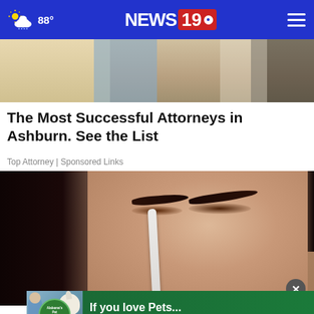88° NEWS 19
[Figure (photo): Top portion of a news website showing partial image of people at an event]
The Most Successful Attorneys in Ashburn. See the List
Top Attorney | Sponsored Links
[Figure (photo): Close-up photo of a woman applying a nose strip to her nose]
[Figure (photo): Pet Depot advertisement banner: If you love Pets... You'll Love Us!]